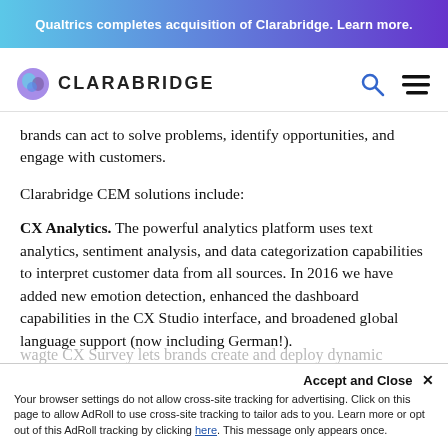Qualtrics completes acquisition of Clarabridge. Learn more.
[Figure (logo): Clarabridge logo with blue brain icon and wordmark CLARABRIDGE]
brands can act to solve problems, identify opportunities, and engage with customers.
Clarabridge CEM solutions include:
CX Analytics. The powerful analytics platform uses text analytics, sentiment analysis, and data categorization capabilities to interpret customer data from all sources. In 2016 we have added new emotion detection, enhanced the dashboard capabilities in the CX Studio interface, and broadened global language support (now including German!).
Learn more about CX Analytics here.
Accept and Close ✕
Your browser settings do not allow cross-site tracking for advertising. Click on this page to allow AdRoll to use cross-site tracking to tailor ads to you. Learn more or opt out of this AdRoll tracking by clicking here. This message only appears once.